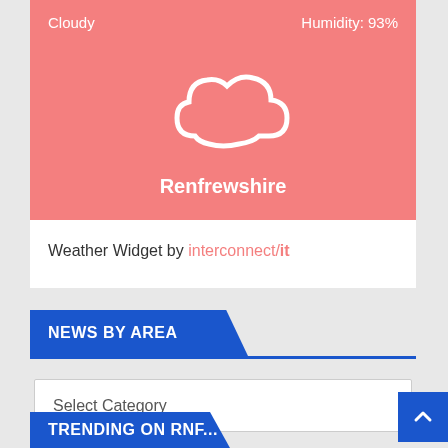[Figure (infographic): Weather widget showing cloudy weather with a cloud icon on a salmon/pink background, displaying 'Cloudy' top-left and 'Humidity: 93%' top-right, with 'Renfrewshire' as the location name at the bottom.]
Weather Widget by interconnect/it
NEWS BY AREA
Select Category
TRENDING ON RNF...